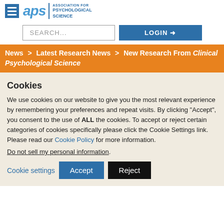APS — Association for Psychological Science
SEARCH...  LOGIN
News > Latest Research News > New Research From Clinical Psychological Science
Cookies
We use cookies on our website to give you the most relevant experience by remembering your preferences and repeat visits. By clicking "Accept", you consent to the use of ALL the cookies. To accept or reject certain categories of cookies specifically please click the Cookie Settings link. Please read our Cookie Policy for more information.
Do not sell my personal information.
Cookie settings  Accept  Reject